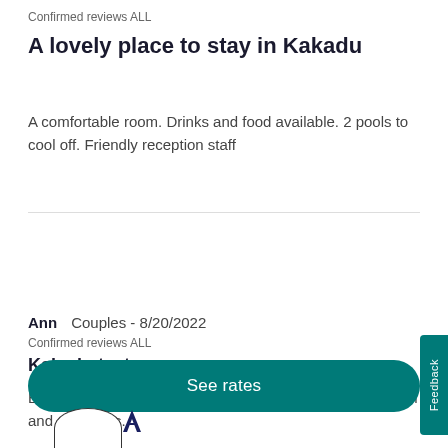Confirmed reviews ALL
A lovely place to stay in Kakadu
A comfortable room. Drinks and food available. 2 pools to cool off. Friendly reception staff
[Figure (illustration): Circular avatar placeholder and Marriott logo]
Ann   Couples - 8/20/2022
Confirmed reviews ALL
Kakadu taster
Efficient check in with friendly staff. Lovely accommodation and amenities.
[Figure (illustration): See rates button (teal rounded rectangle)]
[Figure (illustration): Second reviewer avatar circle and Marriott logo (partially visible at bottom)]